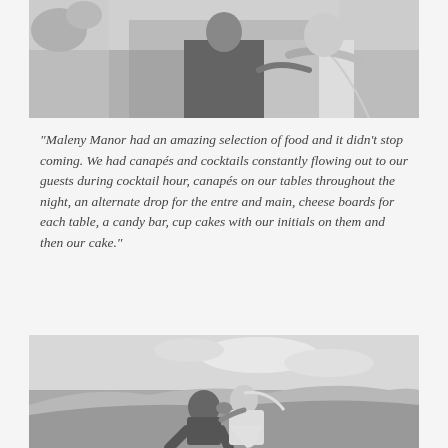[Figure (photo): Black and white photo of a wedding couple embracing, with floral decorations visible, viewed from the torso up.]
“Maleny Manor had an amazing selection of food and it didn’t stop coming. We had canapés and cocktails constantly flowing out to our guests during cocktail hour, canapés on our tables throughout the night, an alternate drop for the entre and main, cheese boards for each table, a candy bar, cup cakes with our initials on them and then our cake.”
[Figure (photo): Black and white photo of a wedding couple kissing on a hillside with a scenic mountain landscape in the background.]